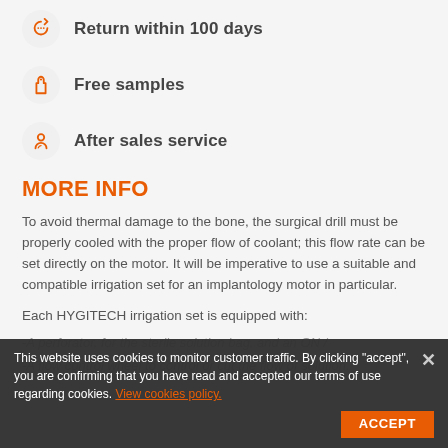Return within 100 days
Free samples
After sales service
MORE INFO
To avoid thermal damage to the bone, the surgical drill must be properly cooled with the proper flow of coolant; this flow rate can be set directly on the motor. It will be imperative to use a suitable and compatible irrigation set for an implantology motor in particular.
Each HYGITECH irrigation set is equipped with:
-A perforator, for the sterile solution bag, and an ON /
-A flow control wheel to control or cut the flow of solution.
This website uses cookies to monitor customer traffic. By clicking "accept", you are confirming that you have read and accepted our terms of use regarding cookies. View cookies policy.